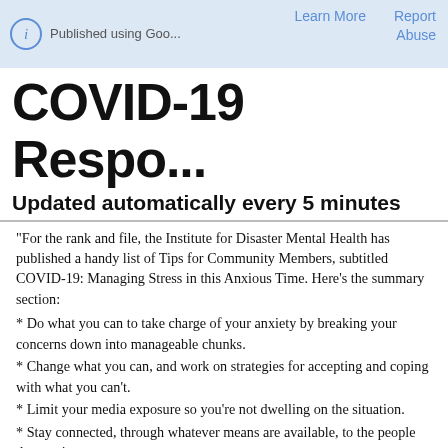Published using Goo...   Learn More   Report   Abuse
COVID-19 Respo...
Updated automatically every 5 minutes
"For the rank and file, the Institute for Disaster Mental Health has published a handy list of Tips for Community Members, subtitled COVID-19: Managing Stress in this Anxious Time. Here's the summary section:
* Do what you can to take charge of your anxiety by breaking your concerns down into manageable chunks.
* Change what you can, and work on strategies for accepting and coping with what you can't.
* Limit your media exposure so you're not dwelling on the situation.
* Stay connected, through whatever means are available, to the people that are important to you.